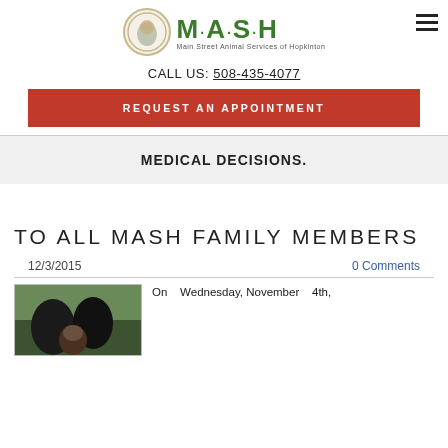[Figure (logo): MASH logo with circle emblem and text 'M·A·S·H / Main Street Animal Services of Hopkinton']
CALL US: 508-435-4077
REQUEST AN APPOINTMENT
MEDICAL DECISIONS.
TO ALL MASH FAMILY MEMBERS
12/3/2015
0 Comments
[Figure (photo): Person with two large black dogs in a wooded outdoor setting]
On Wednesday, November 4th,